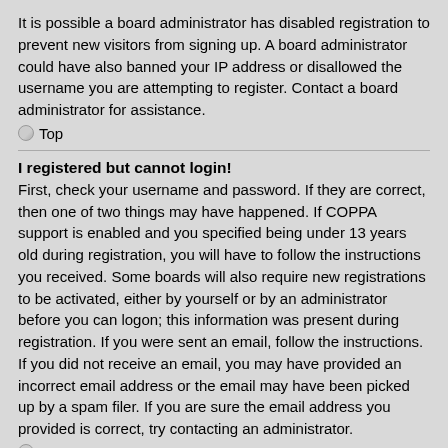It is possible a board administrator has disabled registration to prevent new visitors from signing up. A board administrator could have also banned your IP address or disallowed the username you are attempting to register. Contact a board administrator for assistance.
Top
I registered but cannot login!
First, check your username and password. If they are correct, then one of two things may have happened. If COPPA support is enabled and you specified being under 13 years old during registration, you will have to follow the instructions you received. Some boards will also require new registrations to be activated, either by yourself or by an administrator before you can logon; this information was present during registration. If you were sent an email, follow the instructions. If you did not receive an email, you may have provided an incorrect email address or the email may have been picked up by a spam filer. If you are sure the email address you provided is correct, try contacting an administrator.
Top
Why can't I login?